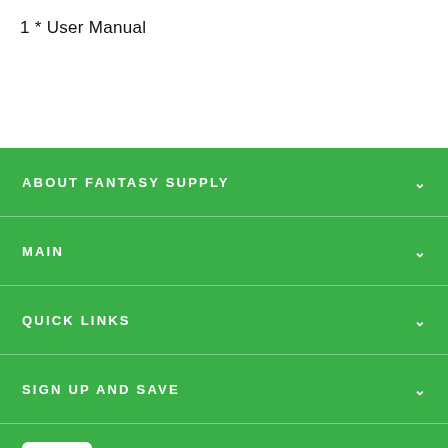1 * User Manual
ABOUT FANTASY SUPPLY
MAIN
QUICK LINKS
SIGN UP AND SAVE
[Figure (logo): PayPal logo button - white rounded rectangle with PayPal 'P' logo in blue]